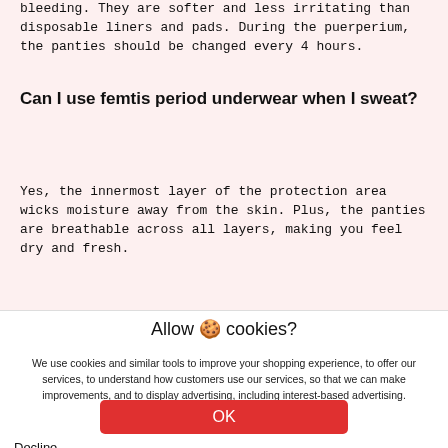bleeding. They are softer and less irritating than disposable liners and pads. During the puerperium, the panties should be changed every 4 hours.
Can I use femtis period underwear when I sweat?
Yes, the innermost layer of the protection area wicks moisture away from the skin. Plus, the panties are breathable across all layers, making you feel dry and fresh.
Allow 🍪 cookies?
We use cookies and similar tools to improve your shopping experience, to offer our services, to understand how customers use our services, so that we can make improvements, and to display advertising, including interest-based advertising.
OK
Decline